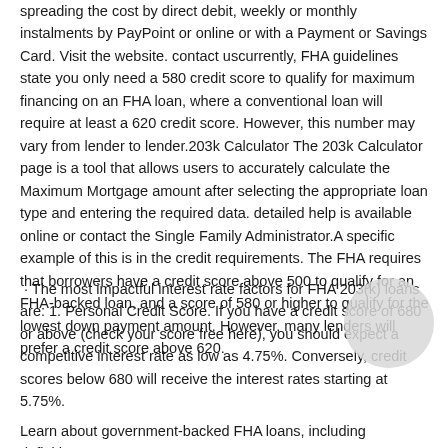spreading the cost by direct debit, weekly or monthly instalments by PayPoint or online or with a Payment or Savings Card. Visit the website. contact uscurrently, FHA guidelines state you only need a 580 credit score to qualify for maximum financing on an FHA loan, where a conventional loan will require at least a 620 credit score. However, this number may vary from lender to lender.203k Calculator The 203k Calculator page is a tool that allows users to accurately calculate the Maximum Mortgage amount after selecting the appropriate loan type and entering the required data. detailed help is available online or contact the Single Family Administrator.A specific example of this is in the credit requirements. The FHA requires that borrowers have a credit score above 500 to qualify for an FHA-backed loan, and a score of 580 or higher to qualify for the lowest down payment amount. However, many lenders will prefer a credit score above 620.
· The most impactful interest rate factors for FHA 203(k) loans are: 1. Personal Credit Score. If you have a credit score of 680 or above (check your score free here), you should expect a competitive interest rate as low as 4.75%. Conversely, credit scores below 680 will receive the interest rates starting at 5.75%.
Learn about government-backed FHA loans, including definition,